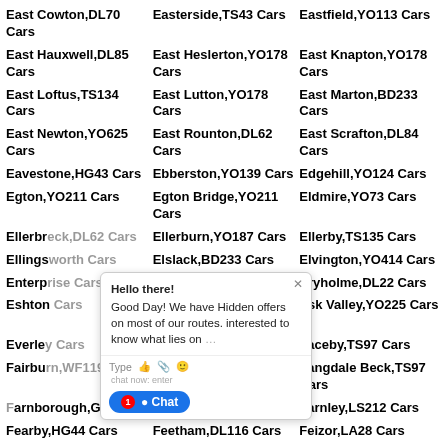East Cowton,DL70 Cars
Easterside,TS43 Cars
Eastfield,YO113 Cars
East Hauxwell,DL85 Cars
East Heslerton,YO178 Cars
East Knapton,YO178 Cars
East Loftus,TS134 Cars
East Lutton,YO178 Cars
East Marton,BD233 Cars
East Newton,YO625 Cars
East Rounton,DL62 Cars
East Scrafton,DL84 Cars
Eavestone,HG43 Cars
Ebberston,YO139 Cars
Edgehill,YO124 Cars
Egton,YO211 Cars
Egton Bridge,YO211 Cars
Eldmire,YO73 Cars
Ellerbeck,DL62 Cars
Ellerburn,YO187 Cars
Ellerby,TS135 Cars
Ellingsworthy Cars
Elslack,BD233 Cars
Elvington,YO414 Cars
Enterprise Cars
Eppleby,DL117 Cars
Eryholme,DL22 Cars
Eshton Cars
Eskdaleside,YO225 Cars
Esk Valley,YO225 Cars
Everley Cars
Exelby,DL82 Cars
Faceby,TS97 Cars
Fairburn,WF119 Cars
Falsgrave,YO124 Cars
Fangdale Beck,TS97 Cars
Farnborough,G59 Cars
Farnhill,BD209 Cars
Farnley,LS212 Cars
Fearby,HG44 Cars
Feetham,DL116 Cars
Feizor,LA28 Cars